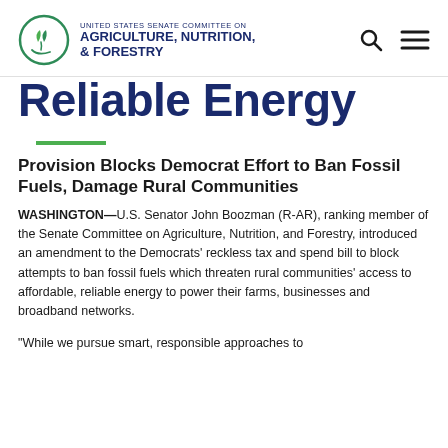UNITED STATES SENATE COMMITTEE ON AGRICULTURE, NUTRITION, & FORESTRY
Reliable Energy
Provision Blocks Democrat Effort to Ban Fossil Fuels, Damage Rural Communities
WASHINGTON—U.S. Senator John Boozman (R-AR), ranking member of the Senate Committee on Agriculture, Nutrition, and Forestry, introduced an amendment to the Democrats' reckless tax and spend bill to block attempts to ban fossil fuels which threaten rural communities' access to affordable, reliable energy to power their farms, businesses and broadband networks.
“While we pursue smart, responsible approaches to